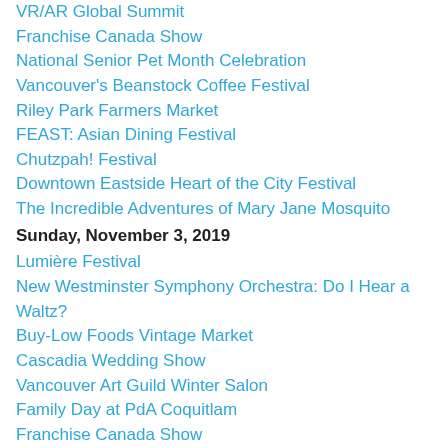VR/AR Global Summit
Franchise Canada Show
National Senior Pet Month Celebration
Vancouver's Beanstock Coffee Festival
Riley Park Farmers Market
FEAST: Asian Dining Festival
Chutzpah! Festival
Downtown Eastside Heart of the City Festival
The Incredible Adventures of Mary Jane Mosquito
Sunday, November 3, 2019
Lumière Festival
New Westminster Symphony Orchestra: Do I Hear a Waltz?
Buy-Low Foods Vintage Market
Cascadia Wedding Show
Vancouver Art Guild Winter Salon
Family Day at PdA Coquitlam
Franchise Canada Show